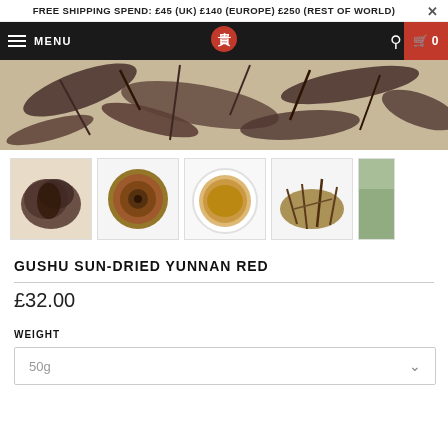FREE SHIPPING SPEND: £45 (UK) £140 (EUROPE) £250 (REST OF WORLD)
[Figure (screenshot): Navigation bar with hamburger menu, MENU text, red logo, search icon and cart button showing 0]
[Figure (photo): Main product image showing dried tea leaves close-up]
[Figure (photo): Thumbnail strip showing 5 product images: loose tea leaves, tea cake, brewed tea in bowl, dried leaves spread, tea plantation]
GUSHU SUN-DRIED YUNNAN RED
£32.00
WEIGHT
50g